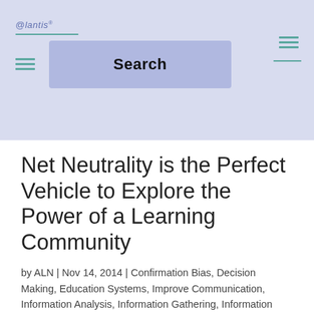@lantis Search
Net Neutrality is the Perfect Vehicle to Explore the Power of a Learning Community
by ALN | Nov 14, 2014 | Confirmation Bias, Decision Making, Education Systems, Improve Communication, Information Analysis, Information Gathering, Information Management, Information Storage and Retrieval, Leadership, Learning Community Architecture, Management